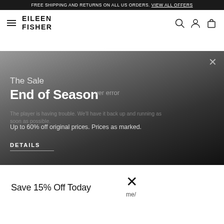FREE SHIPPING AND RETURNS ON ALL US ORDERS. VIEW ALL OFFERS
[Figure (screenshot): Eileen Fisher website navigation bar with hamburger menu, brand logo, search icon, account icon, and shopping bag icon]
[Figure (infographic): Dark gradient hero banner for 'The Sale End of Season' with text 'Up to 60% off original prices. Prices as marked.' and a DETAILS link. An overlapping video player error message reads 'Player error - The player is having trouble. We'll have it back up and running as soon as possible.']
Save 15% Off Today